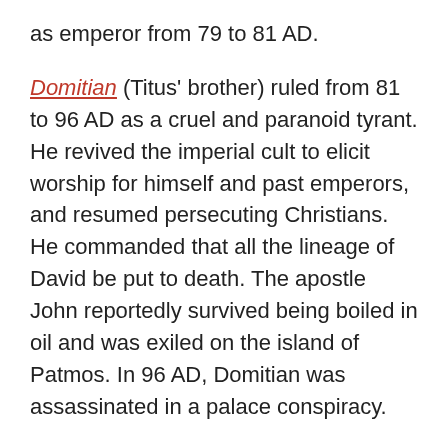as emperor from 79 to 81 AD.
Domitian (Titus' brother) ruled from 81 to 96 AD as a cruel and paranoid tyrant. He revived the imperial cult to elicit worship for himself and past emperors, and resumed persecuting Christians. He commanded that all the lineage of David be put to death. The apostle John reportedly survived being boiled in oil and was exiled on the island of Patmos. In 96 AD, Domitian was assassinated in a palace conspiracy.
Nevertheless (I love that word), Jesus' church survived all this and more. The rulers who persecuted Jesus' church are all gone. So is their power. God's purposes will always trump the plans of powerful men and women, and Jesus' church will never be destroyed by